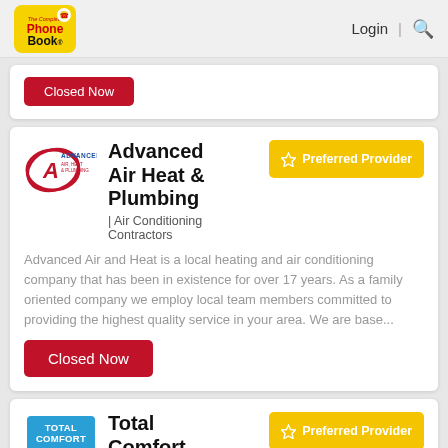The Complete Phone Book | Login | Search
[Figure (logo): Partial listing card with red Closed Now button visible at top]
Advanced Air Heat & Plumbing
| Air Conditioning Contractors
Advanced Air and Heat is a local heating and air conditioning company that has been in existence for over 17 years. As a family oriented company we employ local team members committed to providing the highest quality service in your area. We are base...
Closed Now
Total Comfort
Best Cl...